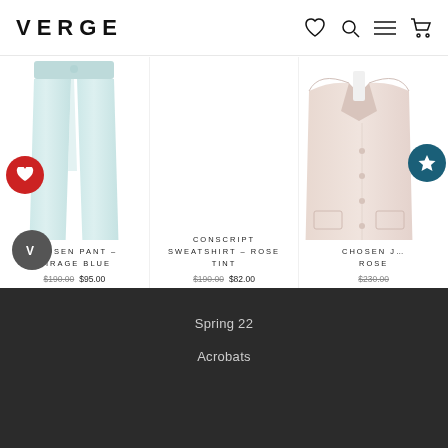VERGE
[Figure (photo): Light blue/mint slim-fit pants cropped at ankle, displayed on white background]
CHOSEN PANT – MIRAGE BLUE
$190.00  $95.00
[Figure (photo): Middle product card - empty/white background]
CONSCRIPT SWEATSHIRT – ROSE TINT
$190.00  $82.00
[Figure (photo): Light pink/blush long blazer jacket on white background, partially cropped on right]
CHOSEN J… ROSE
$230.00
Spring 22
Acrobats